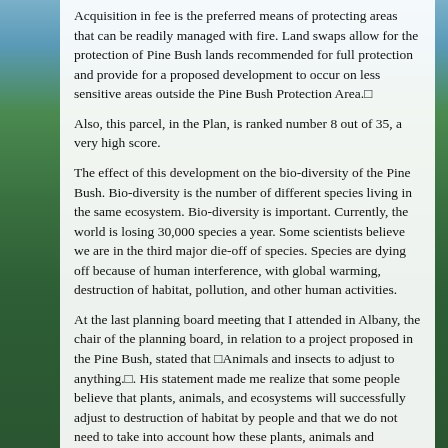Acquisition in fee is the preferred means of protecting areas that can be readily managed with fire. Land swaps allow for the protection of Pine Bush lands recommended for full protection and provide for a proposed development to occur on less sensitive areas outside the Pine Bush Protection Area.□
Also, this parcel, in the Plan, is ranked number 8 out of 35, a very high score.
The effect of this development on the bio-diversity of the Pine Bush. Bio-diversity is the number of different species living in the same ecosystem. Bio-diversity is important. Currently, the world is losing 30,000 species a year. Some scientists believe we are in the third major die-off of species. Species are dying off because of human interference, with global warming, destruction of habitat, pollution, and other human activities.
At the last planning board meeting that I attended in Albany, the chair of the planning board, in relation to a project proposed in the Pine Bush, stated that □Animals and insects to adjust to anything.□. His statement made me realize that some people believe that plants, animals, and ecosystems will successfully adjust to destruction of habitat by people and that we do not need to take into account how these plants, animals and ecosystems will respond to various human activities.
The act of building the houses will destroy 37 acres of Pine Bush
[Figure (photo): Background photo of pine bush forest with trees and sky visible on the left side of the page]